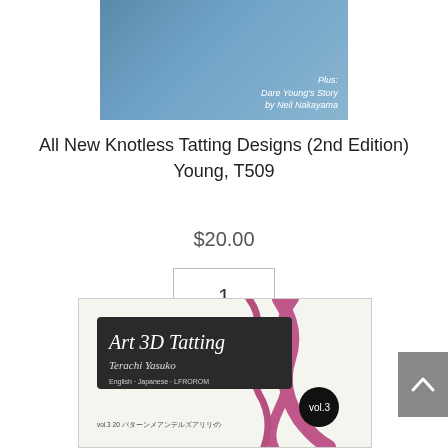[Figure (photo): Book cover of 'All New Knotless Tatting Designs 2nd Edition' with blue background, partially cropped at top]
All New Knotless Tatting Designs (2nd Edition) Young, T509
$20.00
1
Add to cart
[Figure (photo): Book cover of 'Art 3D Tatting' vol. 3 by Terachi Yasuko, showing pink thread decorations on white background with dark label]